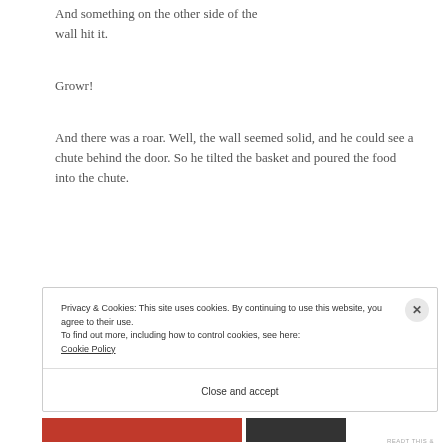And something on the other side of the wall hit it.
Growr!
And there was a roar. Well, the wall seemed solid, and he could see a chute behind the door. So he tilted the basket and poured the food into the chute.
Privacy & Cookies: This site uses cookies. By continuing to use this website, you agree to their use.
To find out more, including how to control cookies, see here:
Cookie Policy
Close and accept